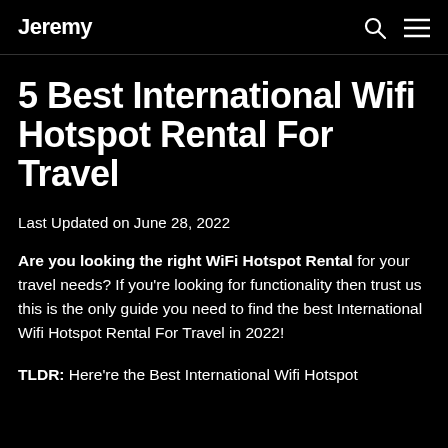Jeremy
5 Best International Wifi Hotspot Rental For Travel
Last Updated on June 28, 2022
Are you looking the right WiFi Hotspot Rental for your travel needs? If you're looking for functionality then trust us this is the only guide you need to find the best International Wifi Hotspot Rental For Travel in 2022!
TLDR: Here're the Best International Wifi Hotspot